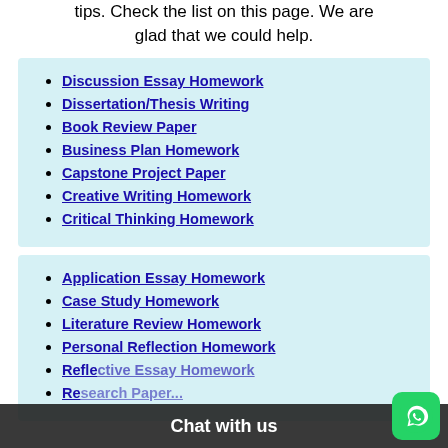tips. Check the list on this page. We are glad that we could help.
Discussion Essay Homework
Dissertation/Thesis Writing
Book Review Paper
Business Plan Homework
Capstone Project Paper
Creative Writing Homework
Critical Thinking Homework
Application Essay Homework
Case Study Homework
Literature Review Homework
Personal Reflection Homework
Reflective Essay Homework
Research Paper (truncated)